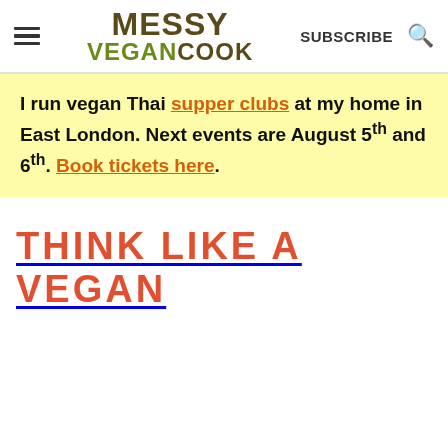Messy Vegan Cook — SUBSCRIBE
I run vegan Thai supper clubs at my home in East London. Next events are August 5th and 6th. Book tickets here.
THINK LIKE A VEGAN